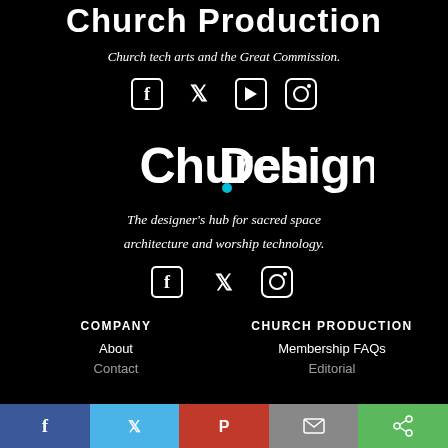Church Production
Church tech arts and the Great Commission.
[Figure (other): Social media icons: Facebook, Twitter, YouTube, Instagram]
[Figure (logo): Church.Design logo with teal dot]
The designer's hub for sacred space architecture and worship technology.
[Figure (other): Social media icons: Facebook, Twitter, Instagram]
COMPANY
CHURCH PRODUCTION
About
Membership FAQs
Contact
Editorial
[Figure (other): Social sharing bar: Facebook, Twitter, Pinterest, Email, Share buttons]